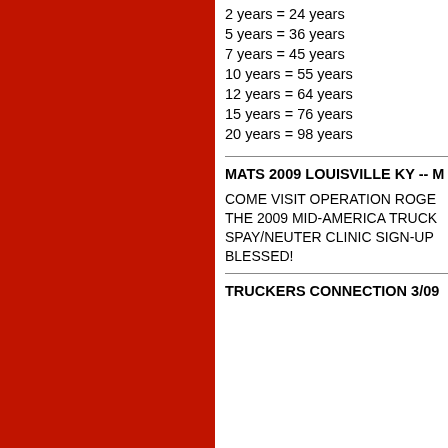2 years = 24 years
5 years = 36 years
7 years = 45 years
10 years = 55 years
12 years = 64 years
15 years = 76 years
20 years = 98 years
MATS 2009 LOUISVILLE KY -- M
COME VISIT OPERATION ROGE THE 2009 MID-AMERICA TRUCK SPAY/NEUTER CLINIC SIGN-UP BLESSED!
TRUCKERS CONNECTION 3/09